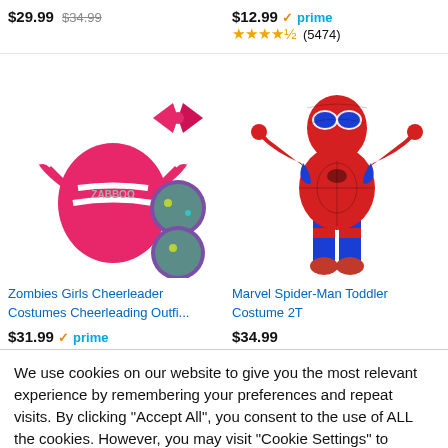$12.99 prime
★★★★★ (5474)
$29.99 $34.99
[Figure (photo): Zombies Girls Cheerleader pink costume with bow and pom poms]
[Figure (photo): Marvel Spider-Man Toddler Costume 2T]
Zombies Girls Cheerleader Costumes Cheerleading Outfi...
Marvel Spider-Man Toddler Costume 2T
$31.99 prime
$34.99
We use cookies on our website to give you the most relevant experience by remembering your preferences and repeat visits. By clicking "Accept All", you consent to the use of ALL the cookies. However, you may visit "Cookie Settings" to provide a controlled consent.
Cookie Settings
Accept All